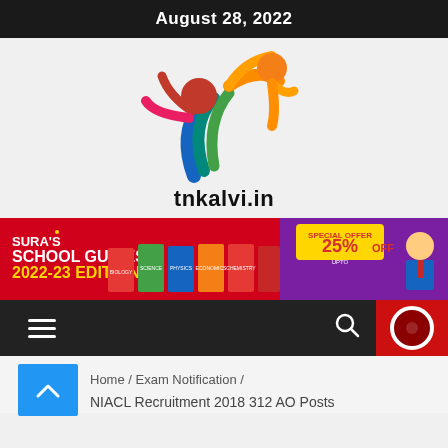August 28, 2022
[Figure (logo): tnkalvi.in logo with colorful human figures and text 'tnkalvi.in']
[Figure (infographic): SURA'S School Guides 2022-23 Edition advertisement banner with 25% special offer]
[Figure (other): Navigation bar with hamburger menu, search icon, and red circle button]
Home / Exam Notification / NIACL Recruitment 2018 312 AO Posts